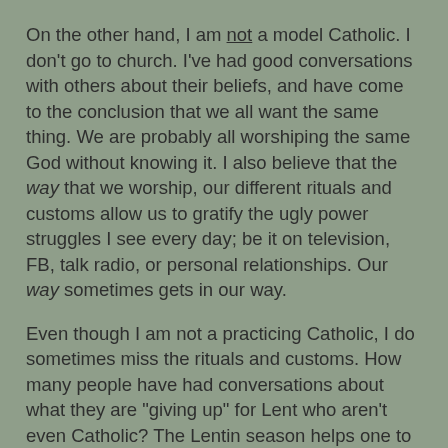On the other hand, I am not a model Catholic. I don't go to church. I've had good conversations with others about their beliefs, and have come to the conclusion that we all want the same thing. We are probably all worshiping the same God without knowing it. I also believe that the way that we worship, our different rituals and customs allow us to gratify the ugly power struggles I see every day; be it on television, FB, talk radio, or personal relationships. Our way sometimes gets in our way.
Even though I am not a practicing Catholic, I do sometimes miss the rituals and customs. How many people have had conversations about what they are "giving up" for Lent who aren't even Catholic? The Lentin season helps one to set a goal and accomplish it within a designated time. It's good thing. It brings people together, promoting community and dialogue.
Even some good Catholics can lose the true meaning of Lent. Like fish on Fridays, or setting personal gain goals.